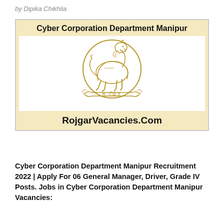by Dipika Chikhlia
[Figure (logo): Cyber Corporation Department Manipur banner with golden emblem (lion/mythical animal on pedestal with Meitei script inscription) on white background, site name RojgarVacancies.Com at bottom, on cream/tan background]
Cyber Corporation Department Manipur Recruitment 2022 | Apply For 06 General Manager, Driver, Grade IV Posts. Jobs in Cyber Corporation Department Manipur Vacancies: